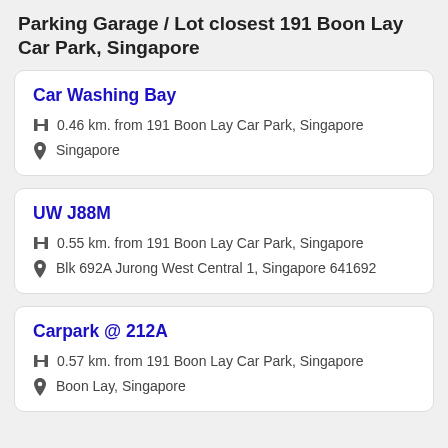Parking Garage / Lot closest 191 Boon Lay Car Park, Singapore
Car Washing Bay
0.46 km. from 191 Boon Lay Car Park, Singapore
Singapore
UW J88M
0.55 km. from 191 Boon Lay Car Park, Singapore
Blk 692A Jurong West Central 1, Singapore 641692
Carpark @ 212A
0.57 km. from 191 Boon Lay Car Park, Singapore
Boon Lay, Singapore